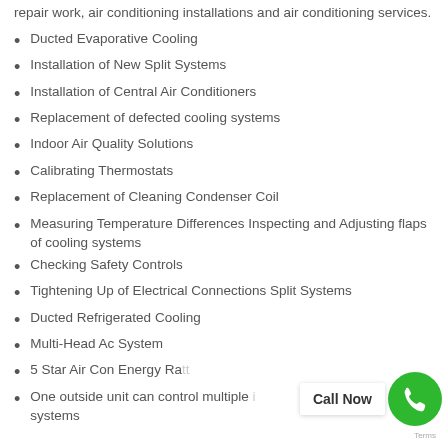repair work, air conditioning installations and air conditioning services.
Ducted Evaporative Cooling
Installation of New Split Systems
Installation of Central Air Conditioners
Replacement of defected cooling systems
Indoor Air Quality Solutions
Calibrating Thermostats
Replacement of Cleaning Condenser Coil
Measuring Temperature Differences Inspecting and Adjusting flaps of cooling systems
Checking Safety Controls
Tightening Up of Electrical Connections Split Systems
Ducted Refrigerated Cooling
Multi-Head Ac System
5 Star Air Con Energy Rat...
One outside unit can control multiple ... systems